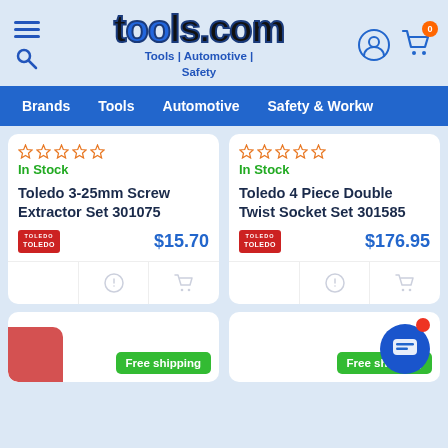tools.com — Tools | Automotive | Safety
Brands | Tools | Automotive | Safety & Workw
In Stock
Toledo 3-25mm Screw Extractor Set 301075
$15.70
In Stock
Toledo 4 Piece Double Twist Socket Set 301585
$176.95
Free shipping
Free shipping